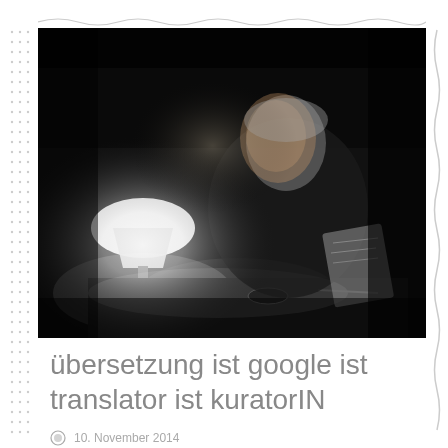[Figure (photo): Black and white photograph of a woman sitting at a desk, illuminated by a small table lamp, holding papers, in a dark room]
übersetzung ist google ist translator ist kuratorIN
10. November 2014